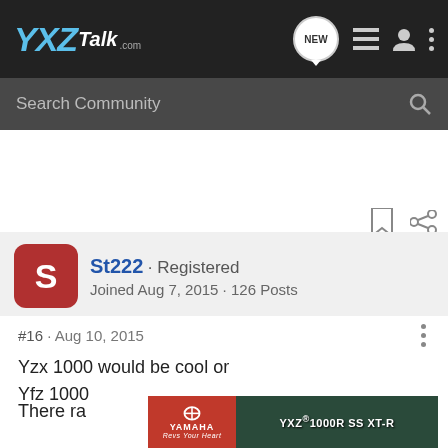YXZ Talk .com
Search Community
St222 · Registered
Joined Aug 7, 2015 · 126 Posts
#16 · Aug 10, 2015
Yzx 1000 would be cool or
Yfz 1000

There ra
[Figure (screenshot): Yamaha YXZ 1000R SS XT-R advertisement banner with Yamaha logo and side-by-side vehicle image]